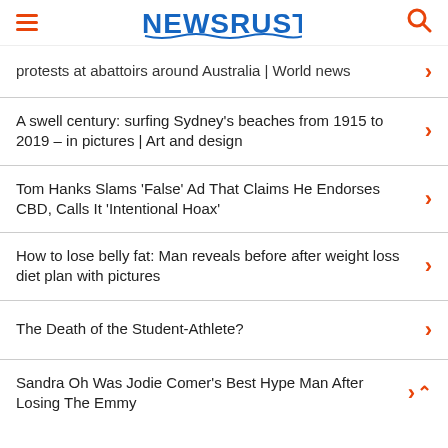NEWSRUST
protests at abattoirs around Australia | World news
A swell century: surfing Sydney's beaches from 1915 to 2019 – in pictures | Art and design
Tom Hanks Slams 'False' Ad That Claims He Endorses CBD, Calls It 'Intentional Hoax'
How to lose belly fat: Man reveals before after weight loss diet plan with pictures
The Death of the Student-Athlete?
Sandra Oh Was Jodie Comer's Best Hype Man After Losing The Emmy